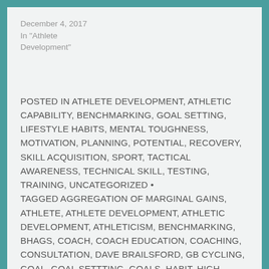December 4, 2017
In "Athlete Development"
POSTED IN ATHLETE DEVELOPMENT, ATHLETIC CAPABILITY, BENCHMARKING, GOAL SETTING, LIFESTYLE HABITS, MENTAL TOUGHNESS, MOTIVATION, PLANNING, POTENTIAL, RECOVERY, SKILL ACQUISITION, SPORT, TACTICAL AWARENESS, TECHNICAL SKILL, TESTING, TRAINING, UNCATEGORIZED • TAGGED AGGREGATION OF MARGINAL GAINS, ATHLETE, ATHLETE DEVELOPMENT, ATHLETIC DEVELOPMENT, ATHLETICISM, BENCHMARKING, BHAGS, COACH, COACH EDUCATION, COACHING, CONSULTATION, DAVE BRAILSFORD, GB CYCLING, GOAL, GOAL SETTTING, GOALS, HABIT, HIGH